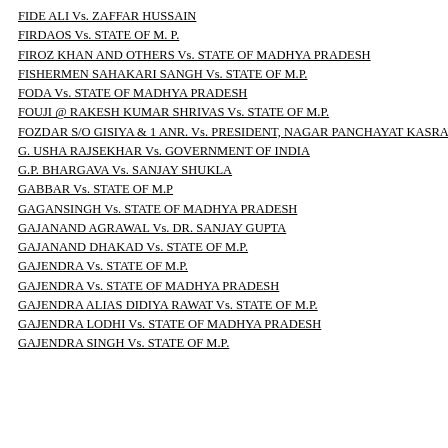FIDE ALI Vs. ZAFFAR HUSSAIN
FIRDAOS Vs. STATE OF M. P.
FIROZ KHAN AND OTHERS Vs. STATE OF MADHYA PRADESH
FISHERMEN SAHAKARI SANGH Vs. STATE OF M.P.
FODA Vs. STATE OF MADHYA PRADESH
FOUJI @ RAKESH KUMAR SHRIVAS Vs. STATE OF M.P.
FOZDAR S/O GISIYA & 1 ANR. Vs. PRESIDENT, NAGAR PANCHAYAT KASRAWA
G. USHA RAJSEKHAR Vs. GOVERNMENT OF INDIA
G.P. BHARGAVA Vs. SANJAY SHUKLA
GABBAR Vs. STATE OF M.P
GAGANSINGH Vs. STATE OF MADHYA PRADESH
GAJANAND AGRAWAL Vs. DR. SANJAY GUPTA
GAJANAND DHAKAD Vs. STATE OF M.P.
GAJENDRA Vs. STATE OF M.P.
GAJENDRA Vs. STATE OF MADHYA PRADESH
GAJENDRA ALIAS DIDIYA RAWAT Vs. STATE OF M.P.
GAJENDRA LODHI Vs. STATE OF MADHYA PRADESH
GAJENDRA SINGH Vs. STATE OF M.P.